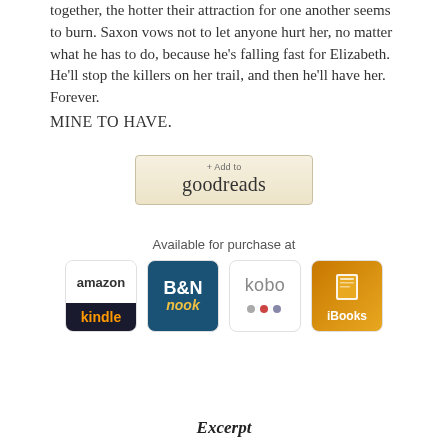together, the hotter their attraction for one another seems to burn. Saxon vows not to let anyone hurt her, no matter what he has to do, because he's falling fast for Elizabeth. He'll stop the killers on her trail, and then he'll have her. Forever.
MINE TO HAVE.
[Figure (logo): + Add to goodreads button]
Available for purchase at
[Figure (logo): Amazon Kindle, Barnes & Noble Nook, Kobo, and iBooks store icons]
Excerpt